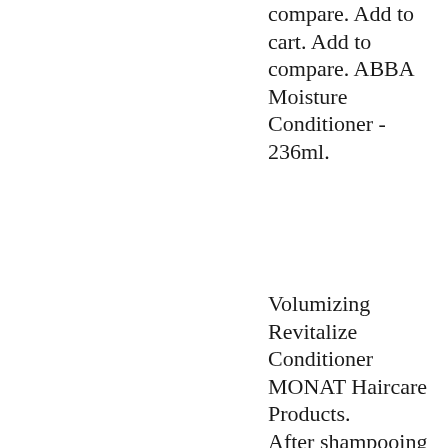compare. Add to cart. Add to compare. ABBA Moisture Conditioner - 236ml.
Volumizing Revitalize Conditioner MONAT Haircare Products. After shampooing with MONAT Volumizing Revive Shampoo, gently squeeze excess water from hair and apply MONAT Volumizing Revitalize Conditioner. A blend of 13 Natural Plant and Essential Oils rich